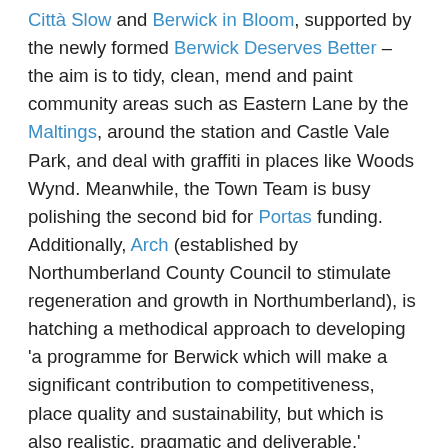Città Slow and Berwick in Bloom, supported by the newly formed Berwick Deserves Better – the aim is to tidy, clean, mend and paint community areas such as Eastern Lane by the Maltings, around the station and Castle Vale Park, and deal with graffiti in places like Woods Wynd. Meanwhile, the Town Team is busy polishing the second bid for Portas funding. Additionally, Arch (established by Northumberland County Council to stimulate regeneration and growth in Northumberland), is hatching a methodical approach to developing 'a programme for Berwick which will make a significant contribution to competitiveness, place quality and sustainability, but which is also realistic, pragmatic and deliverable.'  Which, hopefully, will bode well for a number of prime redundant sites in Berwick, including the Kwik Save building.
So, let's hope that, in time, such initiatives coalesce to